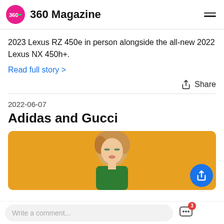360 Magazine
2023 Lexus RZ 450e in person alongside the all-new 2022 Lexus NX 450h+.
Read full story >
Share
2022-06-07
Adidas and Gucci
[Figure (photo): Fashion photo of a model with short wavy hair against an orange/yellow background, wearing a green top. Blue circular share FAB button overlay in bottom-right.]